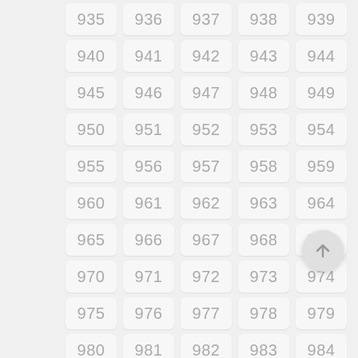[Figure (other): Grid of numbered cells from 935 to 989, arranged in 5 columns and 11 rows, each cell styled as a rounded rectangle with light gray background and gray number text. A circular floating action button with an upward arrow is visible in the lower right area.]